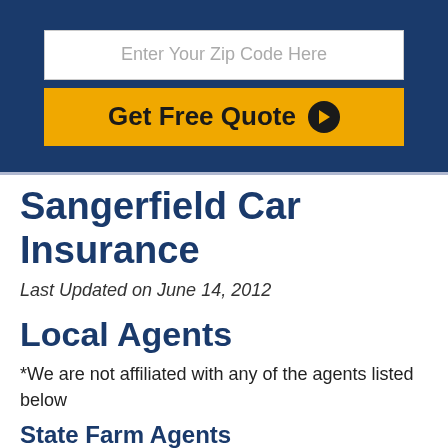[Figure (screenshot): Dark blue hero banner with zip code input field and yellow Get Free Quote button]
Sangerfield Car Insurance
Last Updated on June 14, 2012
Local Agents
*We are not affiliated with any of the agents listed below
State Farm Agents